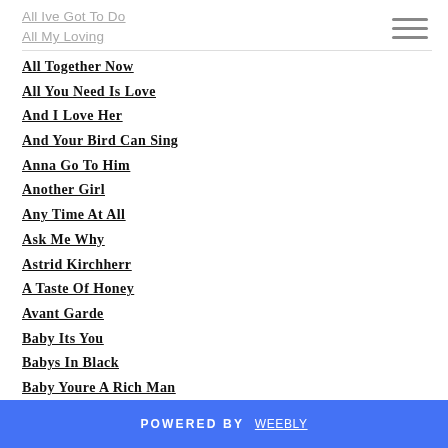All Ive Got To Do
All My Loving
All Together Now
All You Need Is Love
And I Love Her
And Your Bird Can Sing
Anna Go To Him
Another Girl
Any Time At All
Ask Me Why
Astrid Kirchherr
A Taste Of Honey
Avant Garde
Baby Its You
Babys In Black
Baby Youre A Rich Man
Back…
POWERED BY weebly